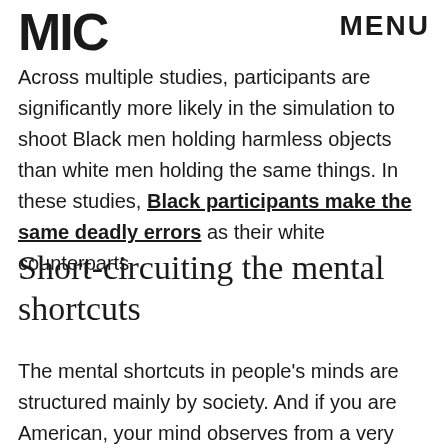MIC  MENU
Across multiple studies, participants are significantly more likely in the simulation to shoot Black men holding harmless objects than white men holding the same things. In these studies, Black participants make the same deadly errors as their white counterparts.
Short-circuiting the mental shortcuts
The mental shortcuts in people's minds are structured mainly by society. And if you are American, your mind observes from a very early age, whether consciously